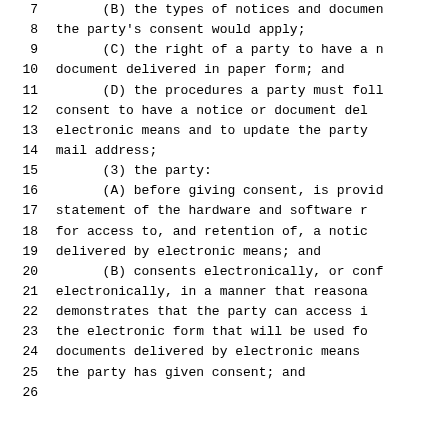7    (B) the types of notices and documents to which the party's consent would apply;
9    (C) the right of a party to have a notice or document delivered in paper form; and
11   (D) the procedures a party must follow to consent to have a notice or document delivered by electronic means and to update the party's electronic mail address;
15   (3) the party:
16   (A) before giving consent, is provided with a statement of the hardware and software requirements for access to, and retention of, a notice or document delivered by electronic means; and
20   (B) consents electronically, or confirms consent electronically, in a manner that reasonably demonstrates that the party can access information in the electronic form that will be used for notices or documents delivered by electronic means after the party has given consent; and